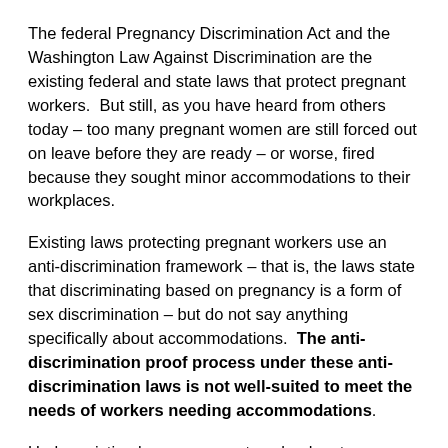The federal Pregnancy Discrimination Act and the Washington Law Against Discrimination are the existing federal and state laws that protect pregnant workers.  But still, as you have heard from others today – too many pregnant women are still forced out on leave before they are ready – or worse, fired because they sought minor accommodations to their workplaces.
Existing laws protecting pregnant workers use an anti-discrimination framework – that is, the laws state that discriminating based on pregnancy is a form of sex discrimination – but do not say anything specifically about accommodations.  The anti-discrimination proof process under these anti-discrimination laws is not well-suited to meet the needs of workers needing accommodations.
Under existing law, a pregnant worker has to prove unlawful treatment based on her employer's failure to accommodate her pregnancy.  The U.S. Supreme Court recently clarified in Young v. UPS what this means: a